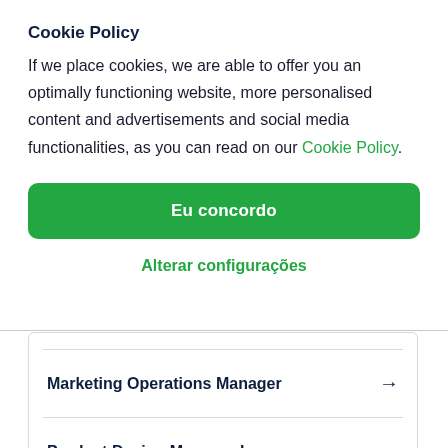Cookie Policy
If we place cookies, we are able to offer you an optimally functioning website, more personalised content and advertisements and social media functionalities, as you can read on our Cookie Policy.
Eu concordo
Alterar configurações
Marketing Operations Manager →
Product Design Manager  In-person →